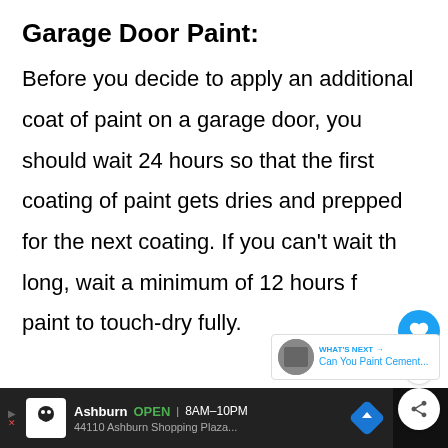Garage Door Paint:
Before you decide to apply an additional coat of paint on a garage door, you should wait 24 hours so that the first coating of paint gets dries and prepped for the next coating. If you can't wait that long, wait a minimum of 12 hours for the paint to touch-dry fully.
[Figure (screenshot): UI overlay elements: heart/like button (blue circle with heart icon), count badge showing '1', share button (white circle with share icon), and 'WHAT'S NEXT' card showing 'Can You Paint Cement...' with a thumbnail]
[Figure (screenshot): Advertisement bar at bottom: dark background, arrow icon, chef/skull logo, 'Ashburn OPEN 8AM-10PM 44110 Ashburn Shopping Plaza...' text, blue navigation diamond icon, and right side dark block with Waze-style icon]